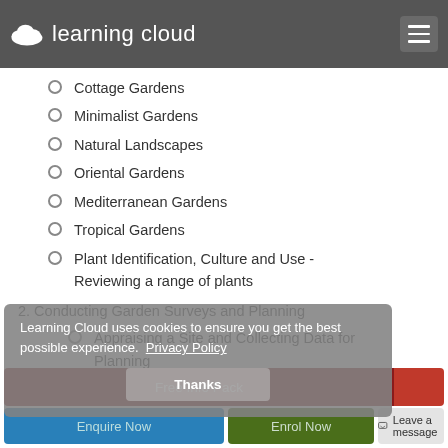Learning Cloud
Cottage Gardens
Minimalist Gardens
Natural Landscapes
Oriental Gardens
Mediterranean Gardens
Tropical Gardens
Plant Identification, Culture and Use - Reviewing a range of plants
2. Conducting Garden Surveys and Planning
Appraising a Site and Collecting Data for Planning
Learning Cloud uses cookies to ensure you get the best possible experience. Privacy Policy
Thanks
Free Info Pack
Enquire Now
Enrol Now
Leave a message